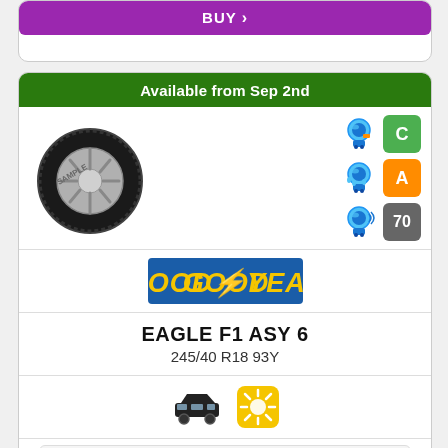BUY >
Available from Sep 2nd
[Figure (photo): Goodyear Eagle F1 ASY 6 tire image (labelled SAMPLE) with EU label ratings: C (fuel efficiency, green), A (wet grip, orange), 70 (noise, gray)]
[Figure (logo): Goodyear logo - yellow text on blue background]
EAGLE F1 ASY 6
245/40 R18 93Y
[Figure (infographic): Car icon (black) and summer/sun icon (yellow)]